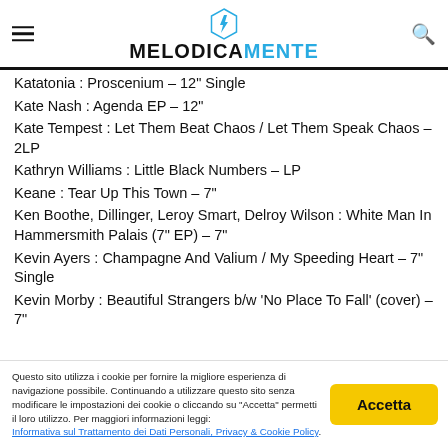MELODICAMENTE
Katatonia : Proscenium – 12" Single
Kate Nash : Agenda EP – 12"
Kate Tempest : Let Them Beat Chaos / Let Them Speak Chaos – 2LP
Kathryn Williams : Little Black Numbers – LP
Keane : Tear Up This Town – 7"
Ken Boothe, Dillinger, Leroy Smart, Delroy Wilson : White Man In Hammersmith Palais (7" EP) – 7"
Kevin Ayers : Champagne And Valium / My Speeding Heart – 7" Single
Kevin Morby : Beautiful Strangers b/w 'No Place To Fall' (cover) – 7"
Questo sito utilizza i cookie per fornire la migliore esperienza di navigazione possibile. Continuando a utilizzare questo sito senza modificare le impostazioni dei cookie o cliccando su "Accetta" permetti il loro utilizzo. Per maggiori informazioni leggi: Informativa sul Trattamento dei Dati Personali, Privacy & Cookie Policy.